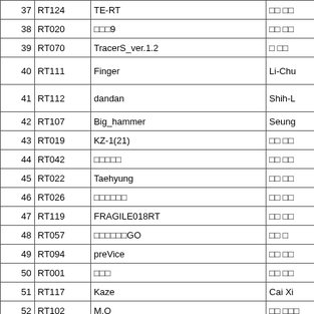| # | Code | Name | Author |
| --- | --- | --- | --- |
| 37 | RT124 | TE-RT | □□ □□ |
| 38 | RT020 | □□□9 | □□ □□ |
| 39 | RT070 | TracerS_ver.1.2 | □ □□ |
| 40 | RT111 | Finger | Li-Chu |
| 41 | RT112 | dandan | Shih-L |
| 42 | RT107 | Big_hammer | Seung |
| 43 | RT019 | KZ-1(21) | □□ □□ |
| 44 | RT042 | □□□□□ | □□ □□ |
| 45 | RT022 | Taehyung | □□ □□ |
| 46 | RT026 | □□□□□□ | □□ □□ |
| 47 | RT119 | FRAGILE018RT | □□ □□ |
| 48 | RT057 | □□□□□□GO | □□ □ |
| 49 | RT094 | preVice | □□ □□ |
| 50 | RT001 | □□□ | □□ □□ |
| 51 | RT117 | Kaze | Cai Xi |
| 52 | RT102 | M.O | □□ □□□ |
| 53 | RT101 | Allegro | □□ □□ |
| 54 | RT028 | pipapipa | □ □□ |
| 55 | RT087 | □□□□□□□!□□□□ | □□ □□ |
| 56 | RT023 | □□□□□ | □□ □□ |